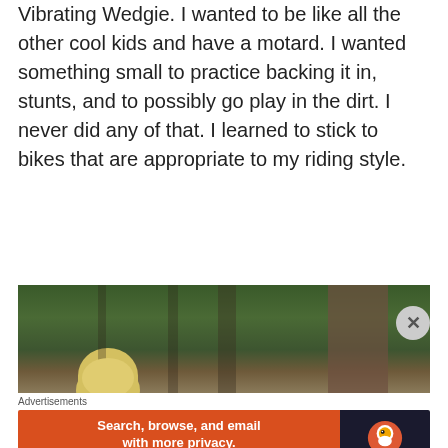Vibrating Wedgie. I wanted to be like all the other cool kids and have a motard. I wanted something small to practice backing it in, stunts, and to possibly go play in the dirt. I never did any of that. I learned to stick to bikes that are appropriate to my riding style.
[Figure (photo): Outdoor photo showing trees and forest background with a yellow/gold helmet visible at the bottom]
Advertisements
[Figure (screenshot): DuckDuckGo advertisement banner: 'Search, browse, and email with more privacy. All in One Free App' with DuckDuckGo logo on dark right panel]